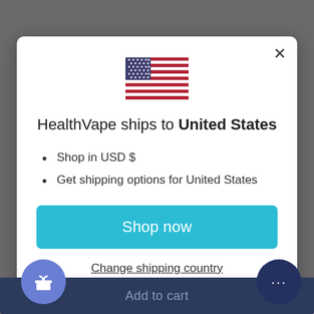[Figure (illustration): US flag emoji icon, centered at top of modal]
HealthVape ships to United States
Shop in USD $
Get shipping options for United States
Shop now
Change shipping country
Add to cart